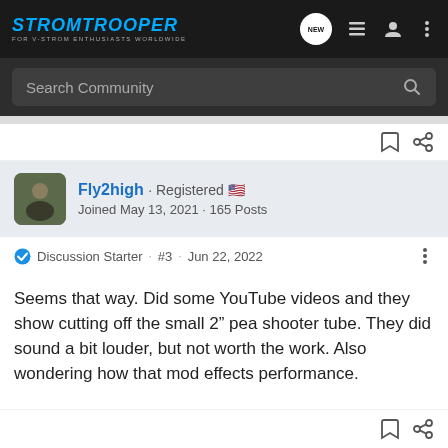STROMTROOPER - FOR V-STROM ENTHUSIASTS WORLDWIDE
Search Community
Fly2high · Registered
Joined May 13, 2021 · 165 Posts
Discussion Starter · #3 · Jun 22, 2022
Seems that way. Did some YouTube videos and they show cutting off the small 2" pea shooter tube. They did sound a bit louder, but not worth the work. Also wondering how that mod effects performance.